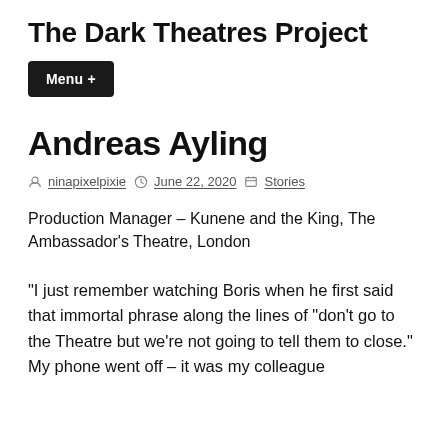The Dark Theatres Project
Menu +
Andreas Ayling
By ninapixelpixie   June 22, 2020   Stories
Production Manager – Kunene and the King, The Ambassador's Theatre, London
“I just remember watching Boris when he first said that immortal phrase along the lines of “don’t go to the Theatre but we’re not going to tell them to close.” My phone went off – it was my colleague